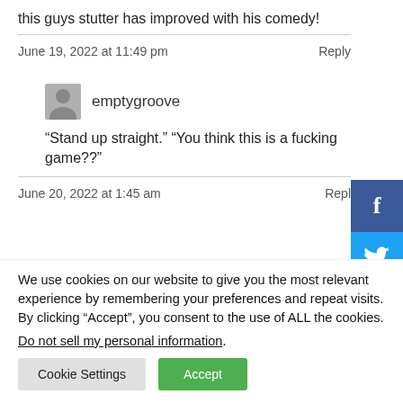this guys stutter has improved with his comedy!
June 19, 2022 at 11:49 pm
Reply
emptygroove
“Stand up straight.” “You think this is a fucking game??”
June 20, 2022 at 1:45 am
Reply
We use cookies on our website to give you the most relevant experience by remembering your preferences and repeat visits. By clicking “Accept”, you consent to the use of ALL the cookies.
Do not sell my personal information.